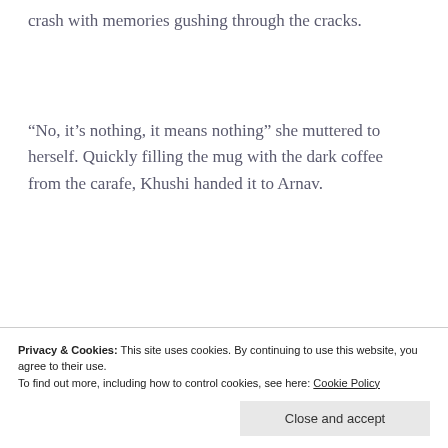crash with memories gushing through the cracks.
“No, it’s nothing, it means nothing” she muttered to herself. Quickly filling the mug with the dark coffee from the carafe, Khushi handed it to Arnav.
“Am sorry for barging in unannounced like this,
Privacy & Cookies: This site uses cookies. By continuing to use this website, you agree to their use.
To find out more, including how to control cookies, see here: Cookie Policy
Close and accept